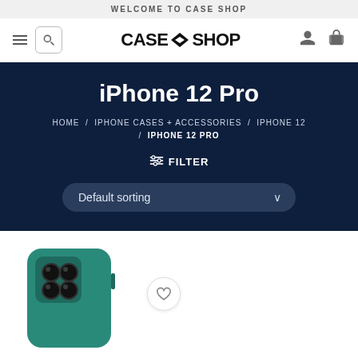WELCOME TO CASE SHOP
[Figure (logo): CASE SHOP logo with hamburger menu, search icon, user icon, and basket icon in navigation bar]
iPhone 12 Pro
HOME / IPHONE CASES + ACCESSORIES / IPHONE 12 / IPHONE 12 PRO
FILTER
Default sorting
[Figure (photo): Teal/green iPhone 12 Pro case with camera cutouts visible, shown partially at bottom of page]